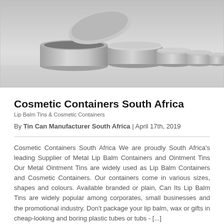[Figure (photo): Product photo showing a row of silver/aluminum metal tin containers of decreasing sizes arranged on a light gray background, from a large open tin on the left to small closed tins on the right.]
Cosmetic Containers South Africa
Lip Balm Tins & Cosmetic Containers
By Tin Can Manufacturer South Africa | April 17th, 2019
Cosmetic Containers South Africa We are proudly South Africa's leading Supplier of Metal Lip Balm Containers and Ointment Tins Our Metal Ointment Tins are widely used as Lip Balm Containers and Cosmetic Containers. Our containers come in various sizes, shapes and colours. Available branded or plain, Can Its Lip Balm Tins are widely popular among corporates, small businesses and the promotional industry. Don't package your lip balm, wax or gifts in cheap-looking and boring plastic tubes or tubs - [...]